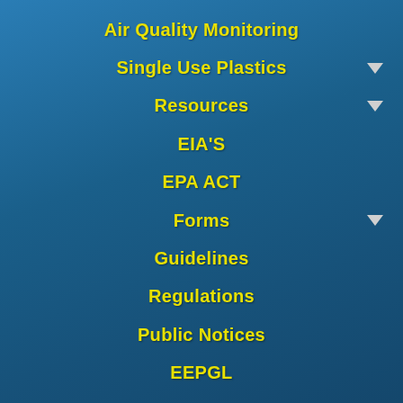Air Quality Monitoring
Single Use Plastics
Resources
EIA'S
EPA ACT
Forms
Guidelines
Regulations
Public Notices
EEPGL